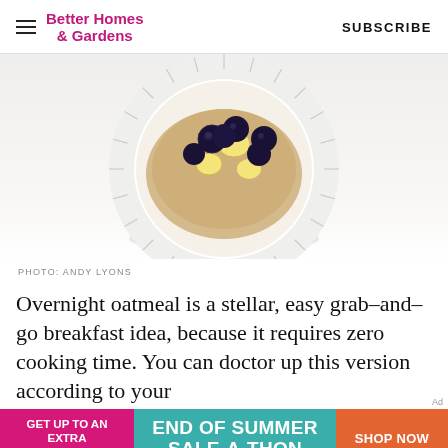Better Homes & Gardens | SUBSCRIBE
[Figure (photo): Overhead view of a bowl of overnight oatmeal topped with blueberries and banana slices, on a decorative plate with radial pattern, partially cropped at top]
PHOTO: ANDY LYONS
Overnight oatmeal is a stellar, easy grab–and–go breakfast idea, because it requires zero cooking time. You can doctor up this version according to your
[Figure (infographic): Advertisement banner: Left pink section 'GET UP TO AN EXTRA 50% OFF', middle teal section 'END OF SUMMER SALE-A-THON', right orange button 'SHOP NOW']